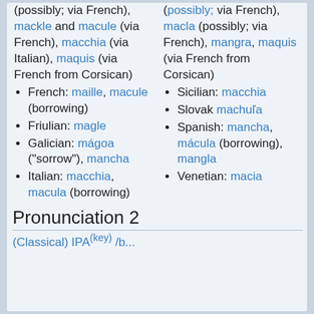(possibly; via French), mackle and macule (via French), macchia (via Italian), maquis (via French from Corsican)
(possibly; via French), macla (possibly; via French), mangra, maquis (via French from Corsican)
French: maille, macule (borrowing)
Sicilian: macchia
Friulian: magle
Slovak machuľa
Galician: mágoa ("sorrow"), mancha
Spanish: mancha, mácula (borrowing), mangla
Italian: macchia, macula (borrowing)
Venetian: macia
Pronunciation 2
(Classical) IPA(key) /...